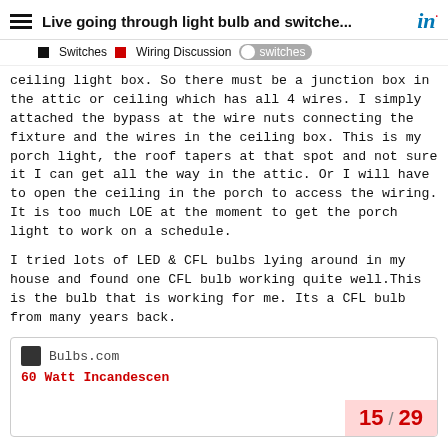Live going through light bulb and switche...
Switches | Wiring Discussion | switches
ceiling light box. So there must be a junction box in the attic or ceiling which has all 4 wires. I simply attached the bypass at the wire nuts connecting the fixture and the wires in the ceiling box. This is my porch light, the roof tapers at that spot and not sure it I can get all the way in the attic. Or I will have to open the ceiling in the porch to access the wiring. It is too much LOE at the moment to get the porch light to work on a schedule.
I tried lots of LED & CFL bulbs lying around in my house and found one CFL bulb working quite well.This is the bulb that is working for me. Its a CFL bulb from many years back.
[Figure (screenshot): Link preview card showing Bulbs.com website with page counter 15/29 and partial product title '60 Watt Incandescent...' in red text]